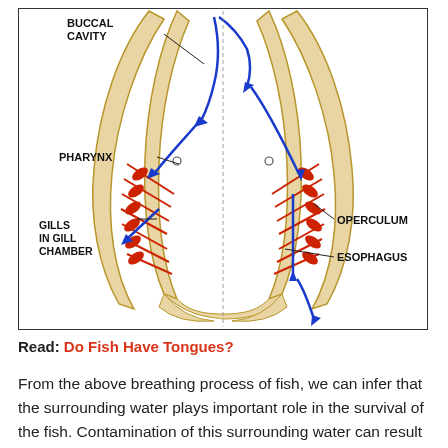[Figure (engineering-diagram): Cross-sectional diagram of a fish head showing the buccal cavity, pharynx, gills in gill chamber, operculum, and esophagus. Blue arrows show water flow direction entering through the mouth and exiting through the gills/operculum.]
Read: Do Fish Have Tongues?
From the above breathing process of fish, we can infer that the surrounding water plays important role in the survival of the fish. Contamination of this surrounding water can result in the suffocation of fish.